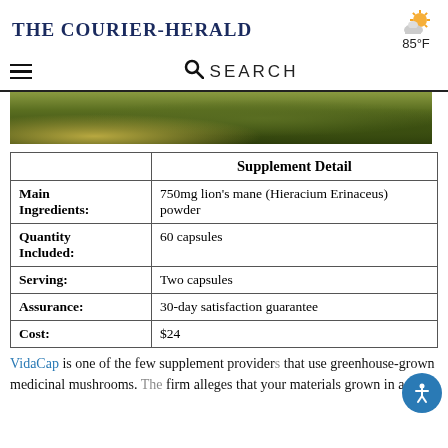The Courier-Herald
[Figure (illustration): Weather icon showing partly cloudy sun with temperature 85°F]
[Figure (screenshot): Navigation bar with hamburger menu and search field]
[Figure (photo): Hero image showing person walking on mossy/grassy ground outdoors]
|  | Supplement Detail |
| --- | --- |
| Main Ingredients: | 750mg lion's mane (Hieracium Erinaceus) powder |
| Quantity Included: | 60 capsules |
| Serving: | Two capsules |
| Assurance: | 30-day satisfaction guarantee |
| Cost: | $24 |
VidaCap is one of the few supplement providers that use greenhouse-grown medicinal mushrooms. The firm alleges that your materials grown in a